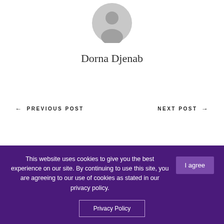[Figure (illustration): Circular gray default user avatar icon centered at top of page]
Dorna Djenab
← PREVIOUS POST   NEXT POST →
This website uses cookies to give you the best experience on our site. By continuing to use this site, you are agreeing to our use of cookies as stated in our privacy policy.
I agree
Privacy Policy